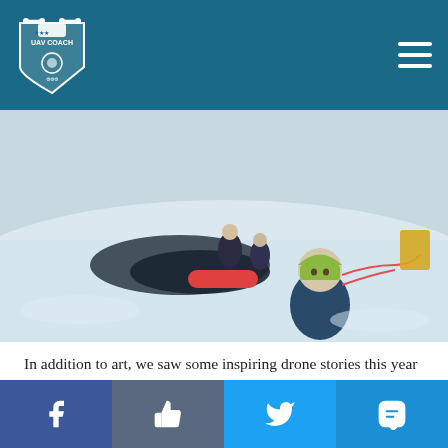UAV Coach
[Figure (photo): People in winter gear on snowy icy terrain, one person wearing a helmet looking at camera, equipment/drone visible in background]
In addition to art, we saw some inspiring drone stories this year on the research front, with drones being used in new innovative ways to support drones for good initiatives all over the world.
From using drones to improve predictions for volcanic eruptions, to mapping icy terrain to improve safety, to collecting
Facebook | Like | Twitter | SMS